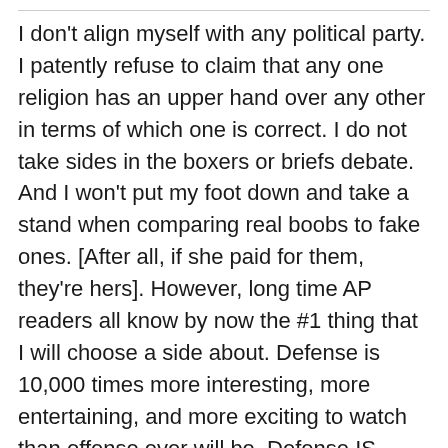I don't align myself with any political party. I patently refuse to claim that any one religion has an upper hand over any other in terms of which one is correct. I do not take sides in the boxers or briefs debate. And I won't put my foot down and take a stand when comparing real boobs to fake ones. [After all, if she paid for them, they're hers]. However, long time AP readers all know by now the #1 thing that I will choose a side about. Defense is 10,000 times more interesting, more entertaining, and more exciting to watch than offense ever will be. Defense IS football. Offense may sell tickets to the layman fans and it may be the only thing that fantasy football goobs tune in to watch, but defensive football is what brings me back every Sunday. Hard nosed, big hitting, run stuffing, quarterback punishing, snot bubble forming, mud in the